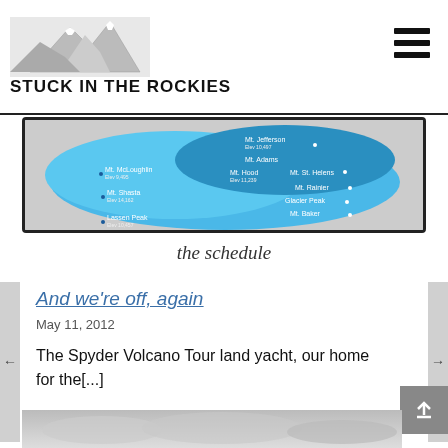Stuck in the Rockies
[Figure (map): Blue map showing Pacific Crest volcanic peaks including Mt. McLoughlin, Mt. Shasta, Lassen Peak, Mt. Jefferson, Mt. Hood, Mt. Adams, Mt. St. Helens, Mt. Rainier, Glacier Peak, Mt. Baker]
the schedule
And we're off, again
May 11, 2012
The Spyder Volcano Tour land yacht, our home for the[...]
[Figure (photo): Cloudy sky photo strip at bottom of page]